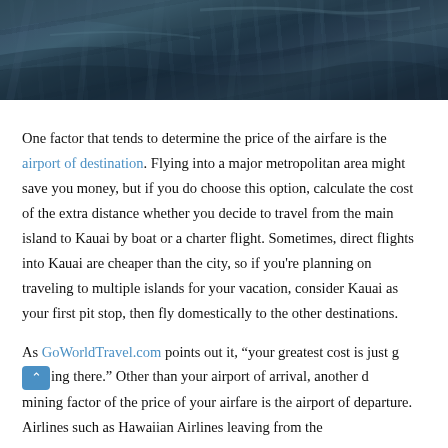[Figure (photo): Aerial photograph of land/terrain viewed from above, showing dark blue-grey tones, agricultural fields and landscape patterns]
One factor that tends to determine the price of the airfare is the airport of destination. Flying into a major metropolitan area might save you money, but if you do choose this option, calculate the cost of the extra distance whether you decide to travel from the main island to Kauai by boat or a charter flight. Sometimes, direct flights into Kauai are cheaper than the city, so if you're planning on traveling to multiple islands for your vacation, consider Kauai as your first pit stop, then fly domestically to the other destinations.
As GoWorldTravel.com points out it, "your greatest cost is just getting there." Other than your airport of arrival, another determining factor of the price of your airfare is the airport of departure. Airlines such as Hawaiian Airlines leaving from the